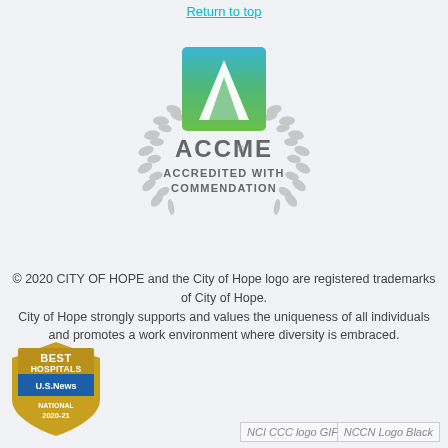Return to top
[Figure (logo): ACCME Accredited with Commendation logo: square badge with blue-to-green gradient background showing a white triangle/mountain shape, flanked by gray laurel wreaths, with text ACCME and ACCREDITED WITH COMMENDATION below]
© 2020 CITY OF HOPE and the City of Hope logo are registered trademarks of City of Hope. City of Hope strongly supports and values the uniqueness of all individuals and promotes a work environment where diversity is embraced.
[Figure (logo): US News Best Hospitals National 2020-21 badge - gold and blue shield shape]
[Figure (logo): NCI CCC logo GIF - placeholder image]
[Figure (logo): NCCN Logo Black - placeholder image]